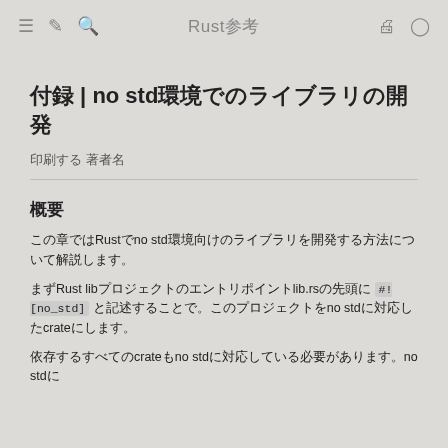Rust参考
付録 | no std環境でのライブラリの開発
印刷する 著者名
概要
この章ではRustでno std環境向けのライブラリを開発する方法について解説します。
まずRust libプロジェクトのエントリポイントlib.rsの先頭に #![no_std] と記述することで。このプロジェクトをno stdに対応したcrateにします。
依存するすべてのcrateもno stdに対応している必要があります。no stdに